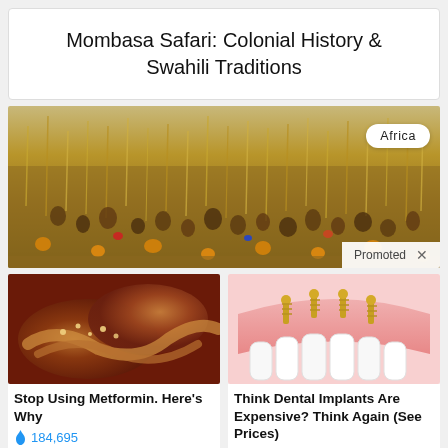Mombasa Safari: Colonial History & Swahili Traditions
[Figure (photo): Aerial or wide-angle photograph of a large crowd of people in a field with dry stalks and scattered round objects (gourds or similar), with an 'Africa' badge overlay and 'Promoted X' label]
[Figure (photo): Close-up photo of internal organs (intestines/pancreas area), advertisement image for Metformin article]
Stop Using Metformin. Here's Why
🔥 184,695
[Figure (illustration): Illustration of dental implants showing white teeth with gold/metal implant screws on pink gum tissue background]
Think Dental Implants Are Expensive? Think Again (See Prices)
🔥 22,813